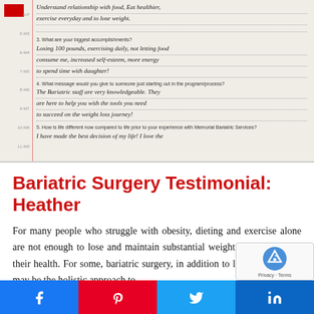[Figure (photo): Scanned handwritten testimonial form showing answers to questions 3, 4, and 5 about bariatric surgery experience. Answer to Q3: 'Losing 100 pounds, exercising daily, not letting food consume me, increased self-esteem, more energy to spend time with daughter!' Answer to Q4: 'The Bariatric staff are very knowledgeable. They are here to help you with the tools you need to succeed on the weight loss journey!' Q5 partially visible: 'I have made the best decision of my life! I love the...']
Bariatric Surgery Testimonial: Heather
For many people who struggle with obesity, dieting and exercise alone are not enough to lose and maintain substantial weight loss to improve their health. For some, bariatric surgery, in addition to lifestyle changes, may be the holistic approach to...